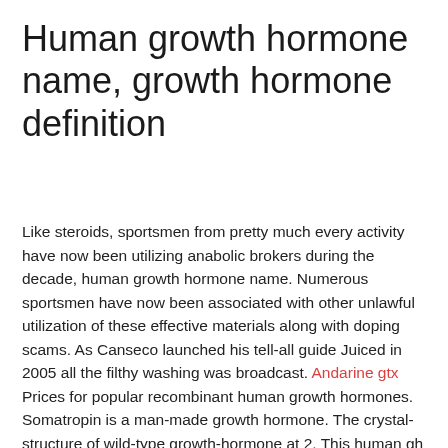Human growth hormone name, growth hormone definition
Like steroids, sportsmen from pretty much every activity have now been utilizing anabolic brokers during the decade, human growth hormone name. Numerous sportsmen have now been associated with other unlawful utilization of these effective materials along with doping scams. As Canseco launched his tell-all guide Juiced in 2005 all the filthy washing was broadcast. Andarine gtx Prices for popular recombinant human growth hormones. Somatropin is a man-made growth hormone. The crystal-structure of wild-type growth-hormone at 2. This human gh is over-expressed and purified from e. Name: human growth hormone (hgh).